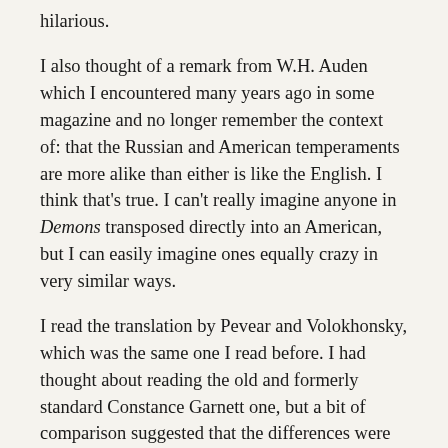hilarious.
I also thought of a remark from W.H. Auden which I encountered many years ago in some magazine and no longer remember the context of: that the Russian and American temperaments are more alike than either is like the English. I think that's true. I can't really imagine anyone in Demons transposed directly into an American, but I can easily imagine ones equally crazy in very similar ways.
I read the translation by Pevear and Volokhonsky, which was the same one I read before. I had thought about reading the old and formerly standard Constance Garnett one, but a bit of comparison suggested that the differences were not as great as, for instance, those between the recent Undset translations and the older ones.